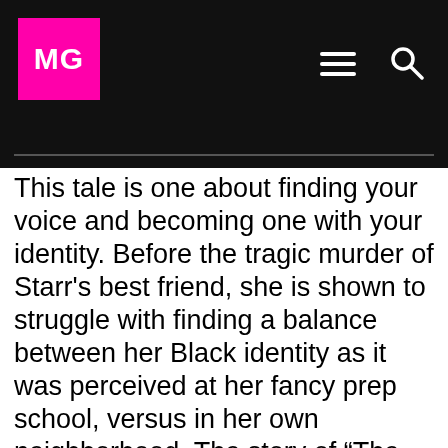MG
This tale is one about finding your voice and becoming one with your identity. Before the tragic murder of Starr's best friend, she is shown to struggle with finding a balance between her Black identity as it was perceived at her fancy prep school, versus in her own neighborhood. The story of “The Hate U Give” follows Starr as she navigates these heavy ideologies whilst exploring the impact social media has on the murder she witnessed because of what is trending online.